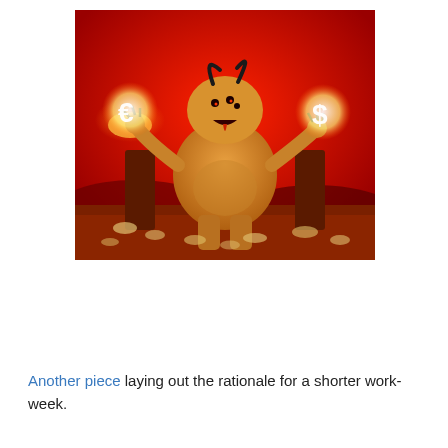[Figure (illustration): A 3D rendered demon-like creature sitting on a throne, holding a glowing Euro symbol in one hand and a glowing Dollar sign in the other. The background is red, and there are small figures or objects scattered on the ground in front of it.]
Another piece laying out the rationale for a shorter work-week.